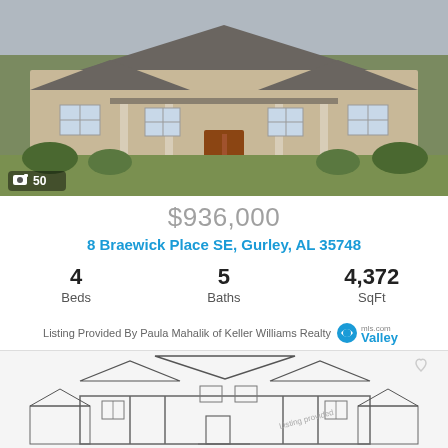[Figure (photo): Exterior photo of a single-story brick ranch-style house with covered porch, green lawn and landscaping. Photo counter shows camera icon and '50' in bottom left corner.]
$936,000
8 Braewick Place SE, Gurley, AL 35748
4 Beds  5 Baths  4,372 SqFt
Listing Provided By Paula Mahalik of Keller Williams Realty
[Figure (illustration): Architectural blueprint/line drawing of a two-story traditional house with multiple roof gables, columns, and attached garages. Heart/favorite icon in upper right corner.]